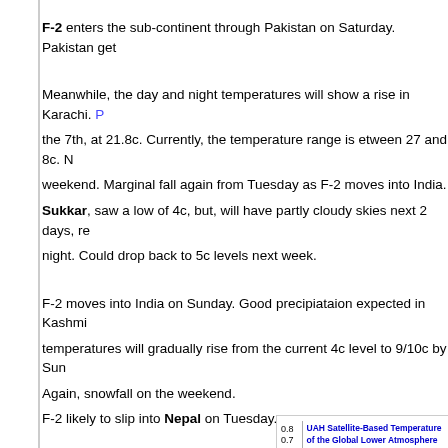F-2 enters the sub-continent through Pakistan on Saturday. Pakistan get...
Meanwhile, the day and night temperatures will show a rise in Karachi. P... the 7th, at 21.8c. Currently, the temperature range is etween 27 and 8c. ... weekend. Marginal fall again from Tuesday as F-2 moves into India. Sukkar, saw a low of 4c, but, will have partly cloudy skies next 2 days, r... night. Could drop back to 5c levels next week.
F-2 moves into India on Sunday. Good precipiataion expected in Kashmi... temperatures will gradually rise from the current 4c level to 9/10c by Sun... Again, snowfall on the weekend.
F-2 likely to slip into Nepal on Tuesday.
Detailed forecast will be put on Saturday night (a bit late in the night) in t... feedback as and when possible to verify.)
Here is the latest Global Temperature taking Jan 2012 into account...
[Figure (other): UAH Satellite-Based Temperature of the Global Lower Atmosphere chart snippet showing y-axis values 0.8 and 0.7]